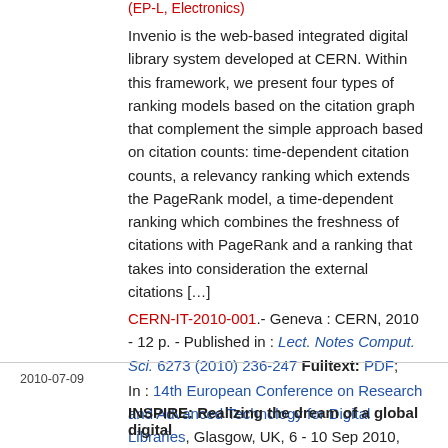(EP-L, Electronics)

Invenio is the web-based integrated digital library system developed at CERN. Within this framework, we present four types of ranking models based on the citation graph that complement the simple approach based on citation counts: time-dependent citation counts, a relevancy ranking which extends the PageRank model, a time-dependent ranking which combines the freshness of citations with PageRank and a ranking that takes into consideration the external citations […]
CERN-IT-2010-001.- Geneva : CERN, 2010 - 12 p. - Published in : Lect. Notes Comput. Sci. 6273 (2010) 236-247 Fulltext: PDF;
In : 14th European Conference on Research and Advanced Technology for Digital Libraries, Glasgow, UK, 6 - 10 Sep 2010, pp.236-247
Notice détaillée - Notices similaires
2010-07-09
INSPIRE: Realizing the dream of a global digital